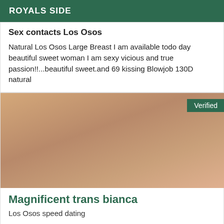ROYALS SIDE
Sex contacts Los Osos
Natural Los Osos Large Breast I am available todo day beautiful sweet woman I am sexy vicious and true passion!!...beautiful sweet.and 69 kissing Blowjob 130D natural
[Figure (photo): Adult content photo with Verified badge in top right corner]
Magnificent trans bianca
Los Osos speed dating
I am a sublime beauty, attractive, caring and very